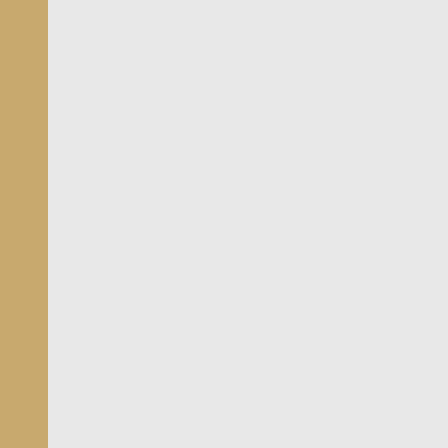alors après ins demandé :
[Figure (photo): Small avatar photo of a person sitting at a desk]
<code>Wsmar
Copyright (

=== START O
Model Famil
Device Mode
Serial Numb
LU WWN Devi
Firmware Ve
User Capaci
Sector Size
Rotation Ra
Form Factor
Device is:
ATA Version
SATA Versio
Local Time
SMART suppo
SMART suppo

=== START (